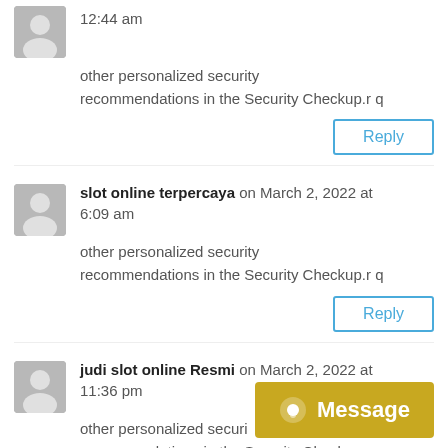12:44 am
other personalized security recommendations in the Security Checkup.r q
Reply
slot online terpercaya on March 2, 2022 at 6:09 am
other personalized security recommendations in the Security Checkup.r q
Reply
judi slot online Resmi on March 2, 2022 at 11:36 pm
other personalized securi recommendations in the Security Checkup...
Message